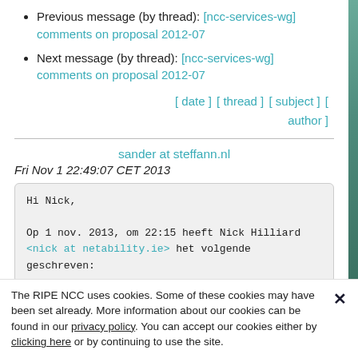Previous message (by thread): [ncc-services-wg] comments on proposal 2012-07
Next message (by thread): [ncc-services-wg] comments on proposal 2012-07
[ date ] [ thread ] [ subject ] [ author ]
sander at steffann.nl
Fri Nov 1 22:49:07 CET 2013
Hi Nick,

Op 1 nov. 2013, om 22:15 heeft Nick Hilliard <nick at netability.ie> het volgende geschreven:
The RIPE NCC uses cookies. Some of these cookies may have been set already. More information about our cookies can be found in our privacy policy. You can accept our cookies either by clicking here or by continuing to use the site.